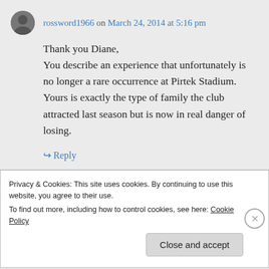rossword1966 on March 24, 2014 at 5:16 pm
Thank you Diane,
You describe an experience that unfortunately is no longer a rare occurrence at Pirtek Stadium. Yours is exactly the type of family the club attracted last season but is now in real danger of losing.
↳ Reply
Privacy & Cookies: This site uses cookies. By continuing to use this website, you agree to their use.
To find out more, including how to control cookies, see here: Cookie Policy
Close and accept